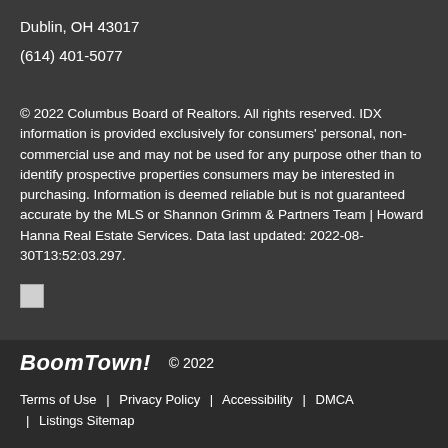Dublin, OH 43017
(614) 401-5077
© 2022 Columbus Board of Realtors. All rights reserved. IDX information is provided exclusively for consumers' personal, non-commercial use and may not be used for any purpose other than to identify prospective properties consumers may be interested in purchasing. Information is deemed reliable but is not guaranteed accurate by the MLS or Shannon Grimm & Partners Team | Howard Hanna Real Estate Services. Data last updated: 2022-08-30T13:52:03.297.
[Figure (other): Broken image placeholder (small image icon)]
BoomTown! © 2022 | Terms of Use | Privacy Policy | Accessibility | DMCA | Listings Sitemap